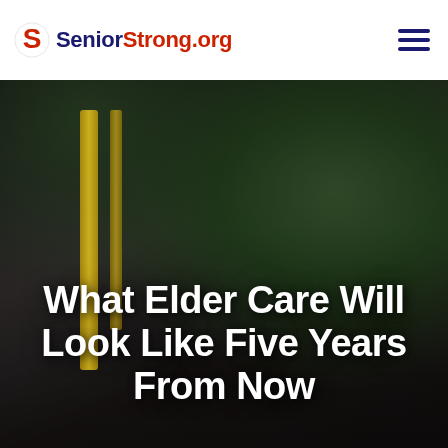SeniorStrong.org
[Figure (photo): A caregiver pushing an elderly person in a gold/yellow wheelchair, photographed outdoors with blurred green foliage in background. Dark, moody color treatment.]
What Elder Care Will Look Like Five Years From Now